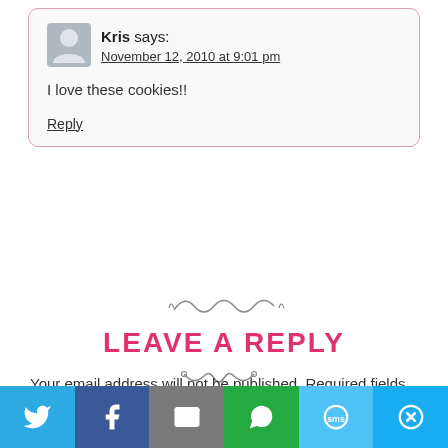Kris says: November 12, 2010 at 9:01 pm
I love these cookies!!
Reply
LEAVE A REPLY
Your email address will not be published. Required fields are marked *
[Figure (infographic): Social share bar with Twitter, Facebook, Email, WhatsApp, SMS, and More buttons]